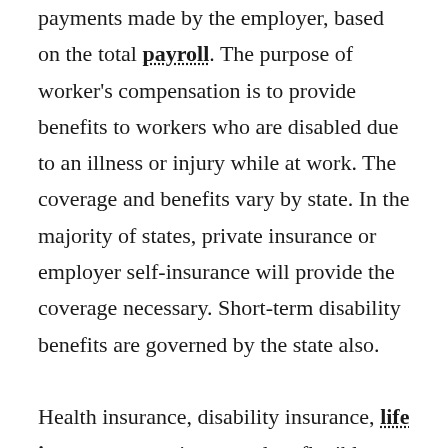payments made by the employer, based on the total payroll. The purpose of worker's compensation is to provide benefits to workers who are disabled due to an illness or injury while at work. The coverage and benefits vary by state. In the majority of states, private insurance or employer self-insurance will provide the coverage necessary. Short-term disability benefits are governed by the state also.
Health insurance, disability insurance, life insurance, a retirement plan, flexible compensation, and leave are often included in a comprehensive benefit plan. An employer may choose to offer such benefits as bonuses, reimbursement of